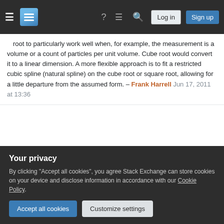Stack Exchange navigation bar with hamburger menu, logo, help, chat, search icons, Log in and Sign up buttons
root to particularly work well when, for example, the measurement is a volume or a count of particles per unit volume. Cube root would convert it to a linear dimension. A more flexible approach is to fit a restricted cubic spline (natural spline) on the cube root or square root, allowing for a little departure from the assumed form. – Frank Harrell Jun 17, 2011 at 13:36
+1. For a little article on cube roots, see stata-journal.com/article.html?article=st0223 (This will be a free .pdf from first quarter 2014.) – Nick Cox May 28, 2013 at 21:08
A square root of zero, is zero, so only the non-zeroes ...
Your privacy
By clicking "Accept all cookies", you agree Stack Exchange can store cookies on your device and disclose information in accordance with our Cookie Policy.
those with the most zeroes, not much of the values are